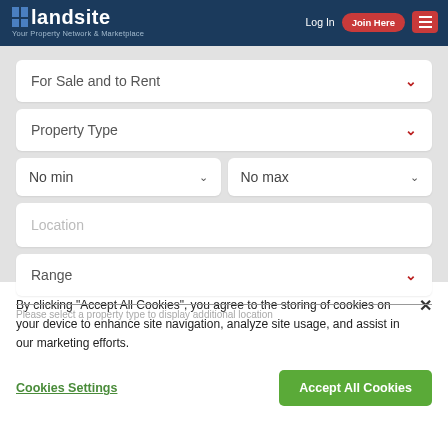landsite — Your Property Network & Marketplace
For Sale and to Rent
Property Type
No min
No max
Location
Range
Please select a property type to display additional location
By clicking "Accept All Cookies", you agree to the storing of cookies on your device to enhance site navigation, analyze site usage, and assist in our marketing efforts.
Cookies Settings
Accept All Cookies